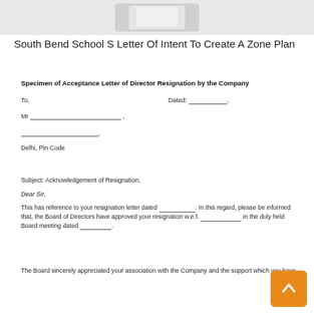[Figure (illustration): Partial view of a document or book illustration at top of page, gray/white tones]
South Bend School S Letter Of Intent To Create A Zone Plan
Specimen of Acceptance Letter of Director Resignation by the Company
To,
Dated: _______,
Mr _____________________ ,
___________________,
Delhi, Pin Code
Subject: Acknowledgement of Resignation,
Dear Sir,
This has reference to your resignation letter dated _________. In this regard, please be informed that, the Board of Directors have approved your resignation w.e.f. __________ in the duly held Board meeting dated _________.
The Board sincerely appreciated your association with the Company and the support which you have